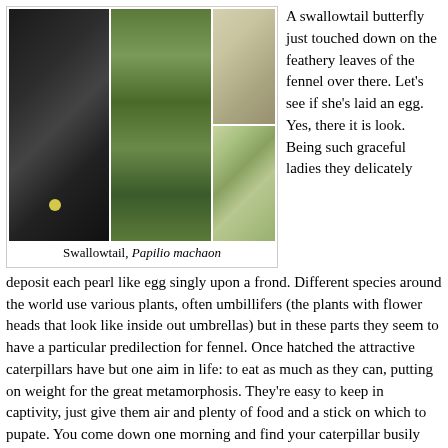[Figure (photo): Four photos showing swallowtail butterfly life cycle: branch with egg, green caterpillar, chrysalis, and adult butterfly on fennel]
Swallowtail, Papilio machaon
A swallowtail butterfly just touched down on the feathery leaves of the fennel over there. Let’s see if she’s laid an egg. Yes, there it is look. Being such graceful ladies they delicately deposit each pearl like egg singly upon a frond. Different species around the world use various plants, often umbillifers (the plants with flower heads that look like inside out umbrellas) but in these parts they seem to have a particular predilection for fennel. Once hatched the attractive caterpillars have but one aim in life: to eat as much as they can, putting on weight for the great metamorphosis. They’re easy to keep in captivity, just give them air and plenty of food and a stick on which to pupate. You come down one morning and find your caterpillar busily tying itself to the twig and the following day you discover it has disappeared and a chrysalis (as the pupa of a butterfly is called) is there in its place. How long it stays in this state depends on the temperature where you live but down here in the warmth of southern Europe I only have to wait a few days until a bleary eyed, crumpled version of a butterfly emerges to sit in the sun and pump himself up prior to